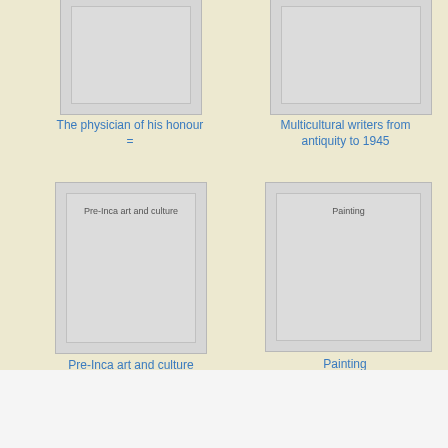[Figure (illustration): Book cover thumbnail - The physician of his honour (partially cut off at top)]
The physician of his honour =
[Figure (illustration): Book cover thumbnail - Multicultural writers from antiquity to 1945 (partially cut off at top)]
Multicultural writers from antiquity to 1945
[Figure (illustration): Book cover thumbnail - Pre-Inca art and culture]
Pre-Inca art and culture
[Figure (illustration): Book cover thumbnail - Painting]
Painting
Cuddle"s Mealtime Download PDF EPUB FB2